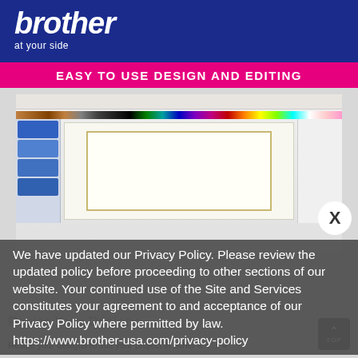[Figure (logo): Brother logo with white text on dark blue background, showing 'brother' wordmark and 'at your side' tagline]
EASY TO USE DESIGN AND EDITING
[Figure (screenshot): Screenshot of Brother embroidery software showing design editing interface with toolbar, color palette, sidebar with design list, main canvas area with decorative border design, and right properties panel]
We have updated our Privacy Policy. Please review the updated policy before proceeding to other sections of our website. Your continued use of the Site and Services constitutes your agreement to and acceptance of our Privacy Policy where permitted by law. https://www.brother-usa.com/privacy-policy
Resize Your Designs
Resize your designs to suit your project in either a 4" x 4"